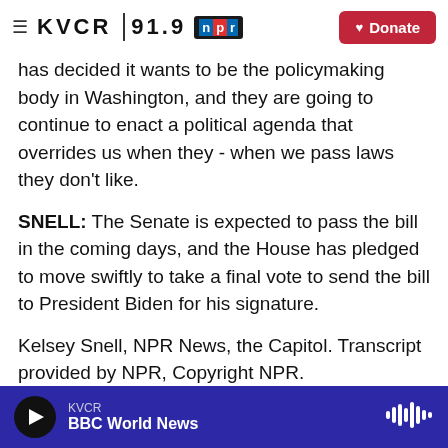KVCR 91.9 NPR — Donate
has decided it wants to be the policymaking body in Washington, and they are going to continue to enact a political agenda that overrides us when they - when we pass laws they don't like.
SNELL: The Senate is expected to pass the bill in the coming days, and the House has pledged to move swiftly to take a final vote to send the bill to President Biden for his signature.
Kelsey Snell, NPR News, the Capitol. Transcript provided by NPR, Copyright NPR.
[Figure (other): Social sharing buttons: Facebook (f), Twitter bird, LinkedIn (in), Email envelope]
KVCR — BBC World News (player bar with play button and waveform)